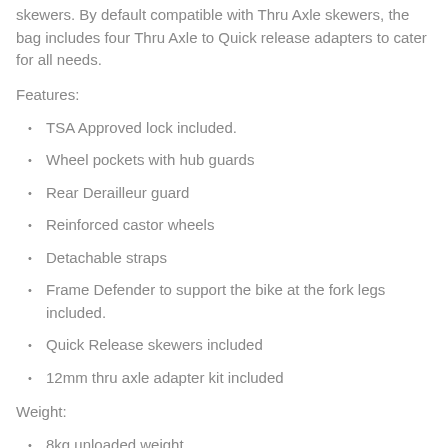skewers. By default compatible with Thru Axle skewers, the bag includes four Thru Axle to Quick release adapters to cater for all needs.
Features:
TSA Approved lock included.
Wheel pockets with hub guards
Rear Derailleur guard
Reinforced castor wheels
Detachable straps
Frame Defender to support the bike at the fork legs included.
Quick Release skewers included
12mm thru axle adapter kit included
Weight:
8kg unloaded weight